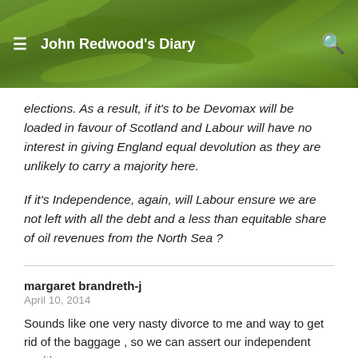John Redwood's Diary
elections. As a result, if it's to be Devomax will be loaded in favour of Scotland and Labour will have no interest in giving England equal devolution as they are unlikely to carry a majority here.
If it's Independence, again, will Labour ensure we are not left with all the debt and a less than equitable share of oil revenues from the North Sea ?
margaret brandreth-j
April 10, 2014
Sounds like one very nasty divorce to me and way to get rid of the baggage , so we can assert our independent position.